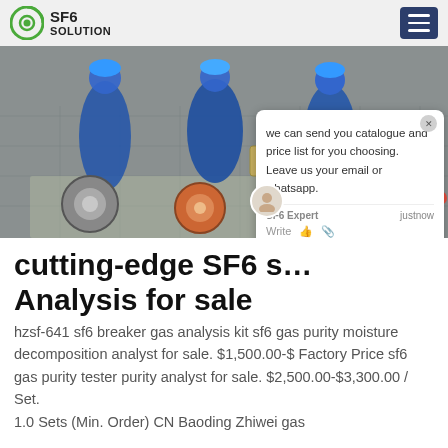SF6 SOLUTION
[Figure (photo): Three workers in blue overalls and blue hard hats crouching on a tiled outdoor surface, working on circular metal flanges/equipment laid out on a tarp.]
cutting-edge SF6 s… Analysis for sale
hzsf-641 sf6 breaker gas analysis kit sf6 gas purity moisture decomposition analyst for sale. $1,500.00-$ Factory Price sf6 gas purity tester purity analyst for sale. $2,500.00-$3,300.00 / Set. 1.0 Sets (Min. Order) CN Baoding Zhiwei gas